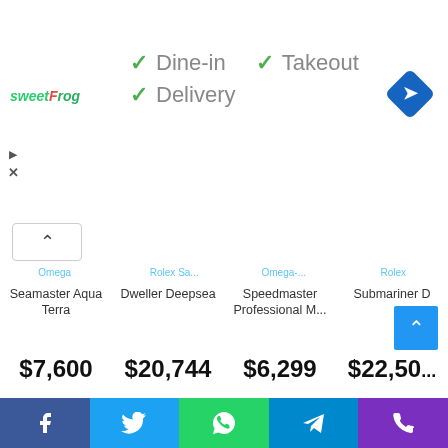[Figure (screenshot): Restaurant info snippet showing sweetFrog logo with green checkmarks for Dine-in, Takeout, and Delivery options, plus a blue navigation arrow icon]
[Figure (screenshot): Watch product listing showing: Seamaster Aqua Terra $7,600; Dweller Deepsea $20,744; Speedmaster Professional M... $6,299; Submariner D $22,50... with brand labels Omega and Rolex partially visible]
Popular Posts
Twitter Tests New Professional Account Options, Including Updated Link Buttons and Shopping Tools — 1 day ago
Final estimates of fiscal 4Q 2015
[Figure (screenshot): Social sharing bar at the bottom with Facebook, Twitter, WhatsApp, Telegram, and Phone icons]